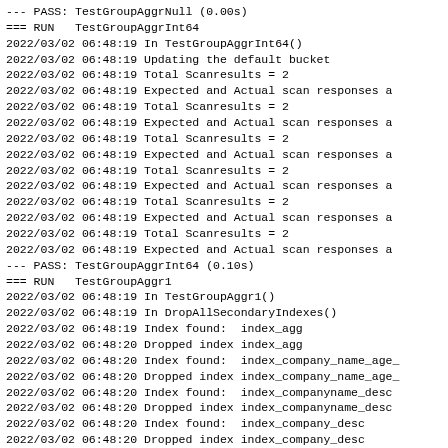--- PASS: TestGroupAggrNull (0.00s)
=== RUN   TestGroupAggrInt64
2022/03/02 06:48:19 In TestGroupAggrInt64()
2022/03/02 06:48:19 Updating the default bucket
2022/03/02 06:48:19 Total Scanresults = 2
2022/03/02 06:48:19 Expected and Actual scan responses a
2022/03/02 06:48:19 Total Scanresults = 2
2022/03/02 06:48:19 Expected and Actual scan responses a
2022/03/02 06:48:19 Total Scanresults = 2
2022/03/02 06:48:19 Expected and Actual scan responses a
2022/03/02 06:48:19 Total Scanresults = 2
2022/03/02 06:48:19 Expected and Actual scan responses a
2022/03/02 06:48:19 Total Scanresults = 2
2022/03/02 06:48:19 Expected and Actual scan responses a
2022/03/02 06:48:19 Total Scanresults = 2
2022/03/02 06:48:19 Expected and Actual scan responses a
--- PASS: TestGroupAggrInt64 (0.10s)
=== RUN   TestGroupAggr1
2022/03/02 06:48:19 In TestGroupAggr1()
2022/03/02 06:48:19 In DropAllSecondaryIndexes()
2022/03/02 06:48:19 Index found:  index_agg
2022/03/02 06:48:20 Dropped index index_agg
2022/03/02 06:48:20 Index found:  index_company_name_age_
2022/03/02 06:48:20 Dropped index index_company_name_age_
2022/03/02 06:48:20 Index found:  index_companyname_desc
2022/03/02 06:48:20 Dropped index index_companyname_desc
2022/03/02 06:48:20 Index found:  index_company_desc
2022/03/02 06:48:20 Dropped index index_company_desc
2022/03/02 06:48:20 Index found:  #primary
2022/03/02 06:48:20 Dropped index #primary
2022/03/02 06:48:50 Flushed the bucket default. Reenro